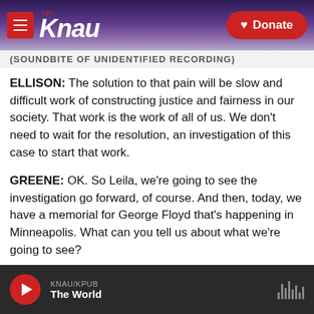KNAU NPR / Donate
(SOUNDBITE OF UNIDENTIFIED RECORDING)
ELLISON: The solution to that pain will be slow and difficult work of constructing justice and fairness in our society. That work is the work of all of us. We don't need to wait for the resolution, an investigation of this case to start that work.
GREENE: OK. So Leila, we're going to see the investigation go forward, of course. And then, today, we have a memorial for George Floyd that's happening in Minneapolis. What can you tell us about what we're going to see?
KNAU/KPUB — The World